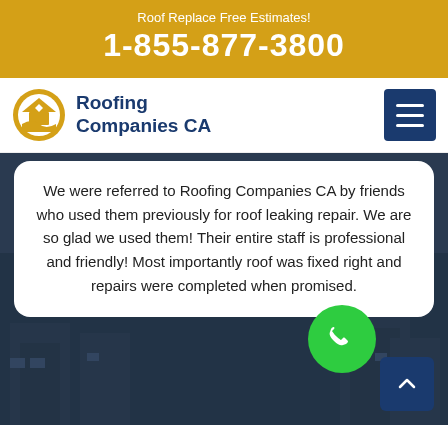Roof Replace Free Estimates!
1-855-877-3800
[Figure (logo): Roofing Companies CA logo with house/roof icon in gold and blue circle]
Roofing Companies CA
We were referred to Roofing Companies CA by friends who used them previously for roof leaking repair. We are so glad we used them! Their entire staff is professional and friendly! Most importantly roof was fixed right and repairs were completed when promised.